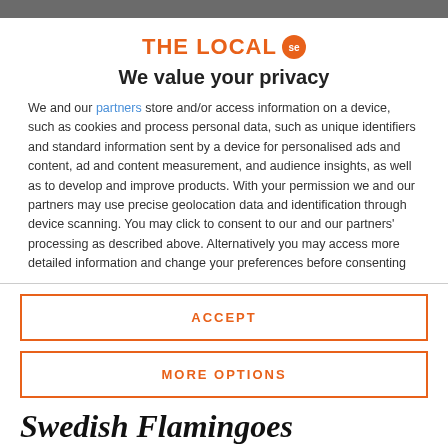[Figure (logo): The Local .se logo — orange bold text 'THE LOCAL' with orange circle badge containing 'se']
We value your privacy
We and our partners store and/or access information on a device, such as cookies and process personal data, such as unique identifiers and standard information sent by a device for personalised ads and content, ad and content measurement, and audience insights, as well as to develop and improve products. With your permission we and our partners may use precise geolocation data and identification through device scanning. You may click to consent to our and our partners' processing as described above. Alternatively you may access more detailed information and change your preferences before consenting
ACCEPT
MORE OPTIONS
Swedish Flamingoes